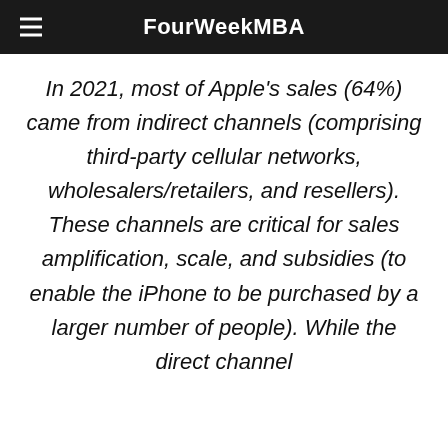FourWeekMBA
In 2021, most of Apple's sales (64%) came from indirect channels (comprising third-party cellular networks, wholesalers/retailers, and resellers). These channels are critical for sales amplification, scale, and subsidies (to enable the iPhone to be purchased by a larger number of people). While the direct channel